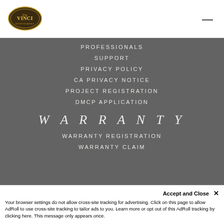[Figure (logo): DaVinci roofscapes oval logo with gold border on white header bar]
PROFESSIONALS
SUPPORT
PRIVACY POLICY
CA PRIVACY NOTICE
PROJECT REGISTRATION
DMCP APPLICATION
WARRANTY
WARRANTY REGISTRATION
WARRANTY CLAIM
SOCIAL
Accept and Close ✕
Your browser settings do not allow cross-site tracking for advertising. Click on this page to allow AdRoll to use cross-site tracking to tailor ads to you. Learn more or opt out of this AdRoll tracking by clicking here. This message only appears once.